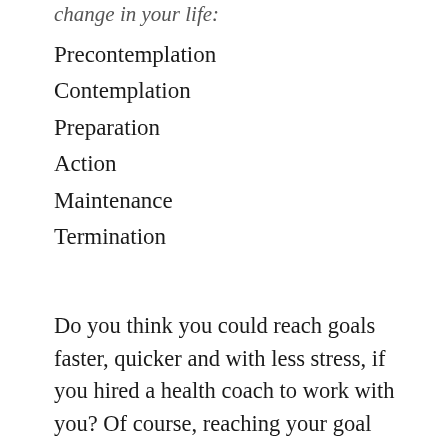change in your life:
Precontemplation
Contemplation
Preparation
Action
Maintenance
Termination
Do you think you could reach goals faster, quicker and with less stress, if you hired a health coach to work with you? Of course, reaching your goal faster, quicker and with less